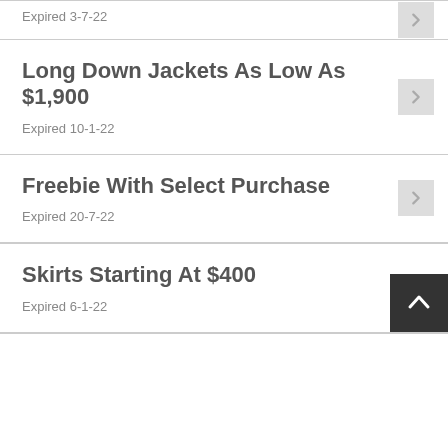Expired 3-7-22
Long Down Jackets As Low As $1,900
Expired 10-1-22
Freebie With Select Purchase
Expired 20-7-22
Skirts Starting At $400
Expired 6-1-22